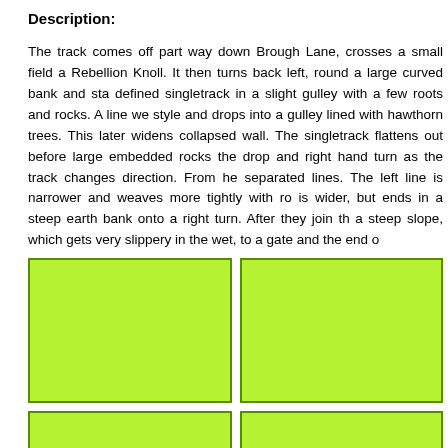Description:
The track comes off part way down Brough Lane, crosses a small field a Rebellion Knoll. It then turns back left, round a large curved bank and sta defined singletrack in a slight gulley with a few roots and rocks. A line we style and drops into a gulley lined with hawthorn trees. This later widens collapsed wall. The singletrack flattens out before large embedded rocks the drop and right hand turn as the track changes direction. From he separated lines. The left line is narrower and weaves more tightly with ro is wider, but ends in a steep earth bank onto a right turn. After they join th a steep slope, which gets very slippery in the wet, to a gate and the end o
[Figure (photo): Green placeholder box - top left photo]
[Figure (photo): Green placeholder box - top right photo]
[Figure (photo): Green placeholder box - bottom left photo]
[Figure (photo): Green placeholder box - bottom right photo]